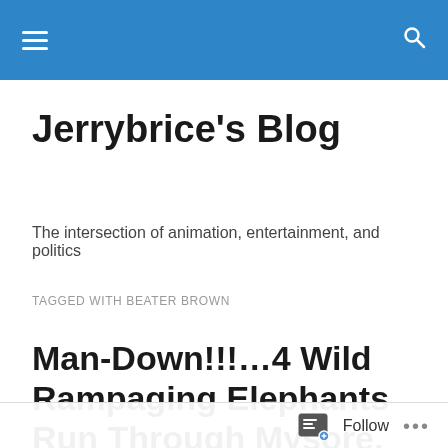Jerrybrice's Blog — top navigation bar
Jerrybrice's Blog
The intersection of animation, entertainment, and politics
TAGGED WITH BEATER BROWN
Man-Down!!!…4 Wild Rampaging Elephants Run Through Mysore, India And Gore Man To A Grisly And Gruesome Death!!!..Dumbo-Trampling Death Caught...
Follow